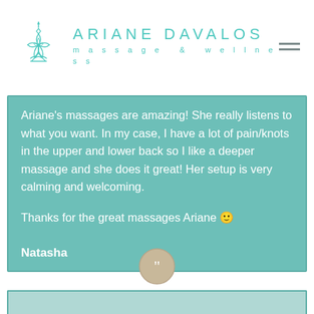[Figure (logo): Ariane Davalos massage & wellness logo with teal lotus/mandala icon and teal text]
Ariane's massages are amazing! She really listens to what you want. In my case, I have a lot of pain/knots in the upper and lower back so I like a deeper massage and she does it great! Her setup is very calming and welcoming.

Thanks for the great massages Ariane 🙂

Natasha